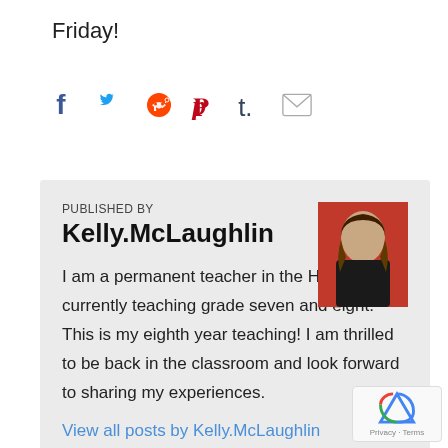Friday!
[Figure (other): Social sharing icons: Facebook, Twitter, Reddit, Pinterest, Tumblr, Email]
PUBLISHED BY
Kelly.McLaughlin
[Figure (photo): Author photo of Kelly McLaughlin against a red background]
I am a permanent teacher in the HWDSB, currently teaching grade seven and eight. This is my eighth year teaching! I am thrilled to be back in the classroom and look forward to sharing my experiences.
View all posts by Kelly.McLaughlin